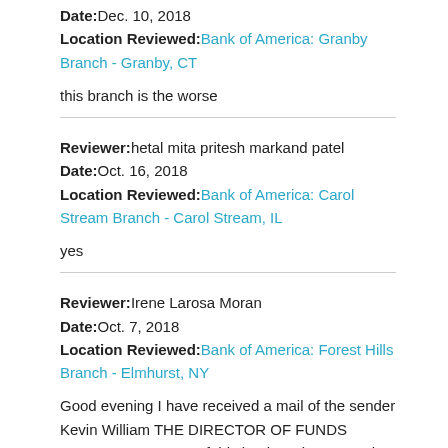Date: Dec. 10, 2018
Location Reviewed: Bank of America: Granby Branch - Granby, CT
this branch is the worse
Reviewer: hetal mita pritesh markand patel
Date: Oct. 16, 2018
Location Reviewed: Bank of America: Carol Stream Branch - Carol Stream, IL
yes
Reviewer: Irene Larosa Moran
Date: Oct. 7, 2018
Location Reviewed: Bank of America: Forest Hills Branch - Elmhurst, NY
Good evening I have received a mail of the sender Kevin William THE DIRECTOR OF FUNDS CLEARANCE UNIT. of this bank saying to me that they assign an inheritance to me please put in contact